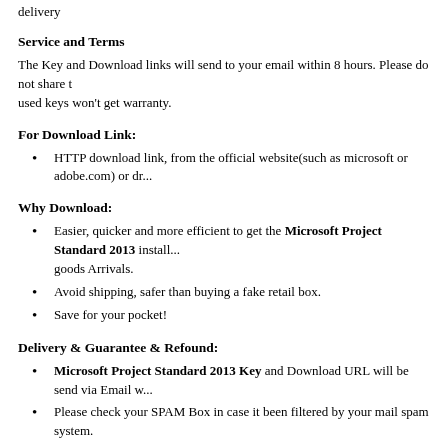delivery
Service and Terms
The Key and Download links will send to your email within 8 hours. Please do not share the used keys won't get warranty.
For Download Link:
HTTP download link, from the official website(such as microsoft or adobe.com) or dr...
Why Download:
Easier, quicker and more efficient to get the Microsoft Project Standard 2013 install... goods Arrivals.
Avoid shipping, safer than buying a fake retail box.
Save for your pocket!
Delivery & Guarantee & Refound:
Microsoft Project Standard 2013 Key and Download URL will be send via Email w...
Please check your SPAM Box in case it been filtered by your mail spam system.
Offer full refund guarantee if Microsoft Project Standard 2013 FULL VERSION k... genuine software)